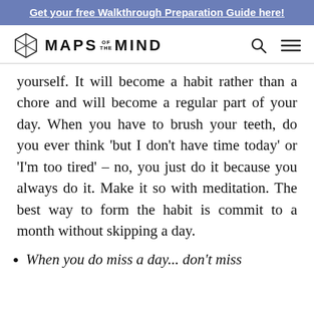Get your free Walkthrough Preparation Guide here!
[Figure (logo): Maps of the Mind logo with hexagonal icon and site navigation icons (search and menu)]
yourself. It will become a habit rather than a chore and will become a regular part of your day. When you have to brush your teeth, do you ever think ‘but I don’t have time today’ or ‘I’m too tired’ – no, you just do it because you always do it. Make it so with meditation. The best way to form the habit is commit to a month without skipping a day.
When you do miss a day... don’t miss